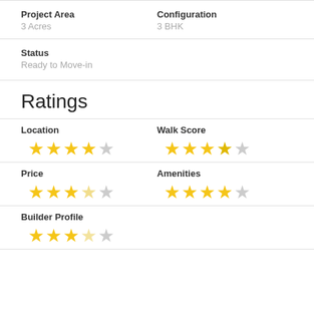Project Area
3 Acres
Configuration
3 BHK
Status
Ready to Move-in
Ratings
Location
★★★★☆ (4/5)
Walk Score
★★★★☆ (4/5, half)
Price
★★★★☆ (3.5/5)
Amenities
★★★★☆ (4.5/5)
Builder Profile
★★★★☆ (4/5)